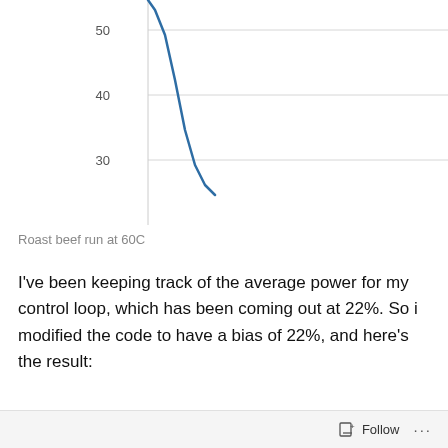[Figure (continuous-plot): Line chart (top portion, cropped) showing temperature data for roast beef run at 60C. Y-axis shows values 30, 40, 50. Blue line descends steeply from top to about 35, forming a V-shape.]
Roast beef run at 60C
I've been keeping track of the average power for my control loop, which has been coming out at 22%. So i modified the code to have a bias of 22%, and here's the result:
[Figure (continuous-plot): Line chart (bottom portion, cropped) showing temperature over time. Y-axis shows 50 and 60. Blue line starts near 49, rises steeply to about 57, then levels off with slight oscillations around 55-56, stabilizing over time.]
Follow